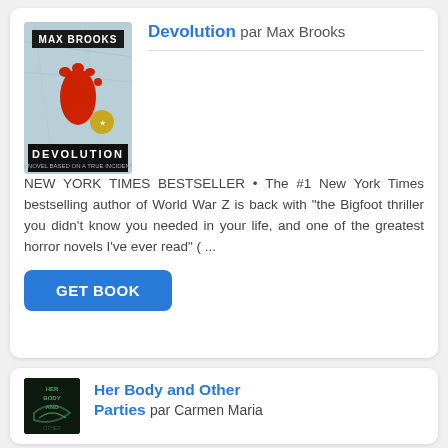[Figure (illustration): Book cover of Devolution by Max Brooks — white/icy background with a red footprint and the author's name and title in bold text]
Devolution par Max Brooks
NEW YORK TIMES BESTSELLER • The #1 New York Times bestselling author of World War Z is back with "the Bigfoot thriller you didn't know you needed in your life, and one of the greatest horror novels I've ever read" ( ...
[Figure (illustration): Book cover of Her Body and Other Parties by Carmen Maria — dark green/black background with stylized illustrated figures]
Her Body and Other Parties par Carmen Maria